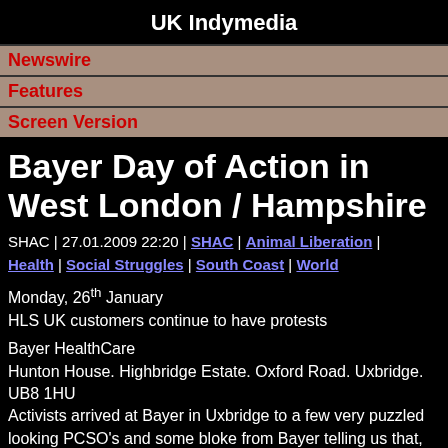UK Indymedia
Newswire
Features
Screen Version
Bayer Day of Action in West London / Hampshire
SHAC | 27.01.2009 22:20 | SHAC | Animal Liberation | Health | Social Struggles | South Coast | World
Monday, 26th January
HLS UK customers continue to have protests
Bayer HealthCare
Hunton House. Highbridge Estate. Oxford Road. Uxbridge. UB8 1HU
Activists arrived at Bayer in Uxbridge to a few very puzzled looking PCSO's and some bloke from Bayer telling us that,